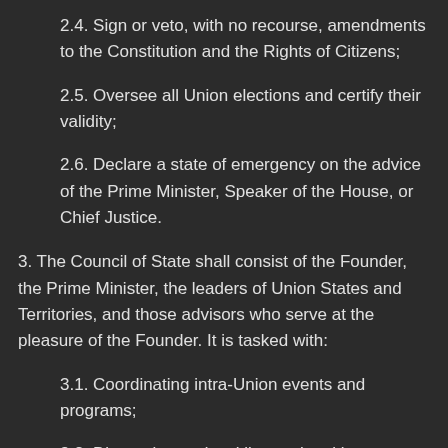2.4. Sign or veto, with no recourse, amendments to the Constitution and the Rights of Citizens;
2.5. Oversee all Union elections and certify their validity;
2.6. Declare a state of emergency on the advice of the Prime Minister, Speaker of the House, or Chief Justice.
3. The Council of State shall consist of the Founder, the Prime Minister, the leaders of Union States and Territories, and those advisors who serve at the pleasure of the Founder. It is tasked with:
3.1. Coordinating intra-Union events and programs;
3.2. Discussing and tackling regional issues;
3.3. Developing formal recommendations for